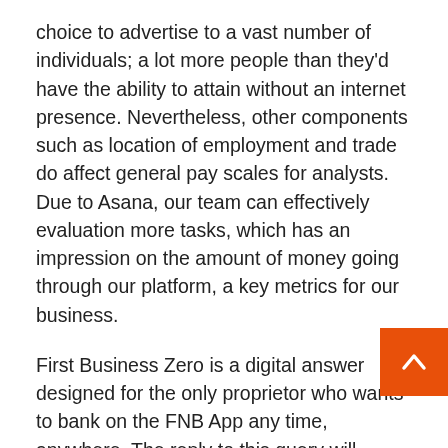choice to advertise to a vast number of individuals; a lot more people than they'd have the ability to attain without an internet presence. Nevertheless, other components such as location of employment and trade do affect general pay scales for analysts. Due to Asana, our team can effectively evaluation more tasks, which has an impression on the amount of money going through our platform, a key metrics for our business.
First Business Zero is a digital answer designed for the only proprietor who wants to bank on the FNB App any time, anywhere. The reply to this query will enable you to outline your viewers, as well as steer you to which of the highest 10 on-line businesses you must think beginning at the moment. Our DIGITAL MARKETING COMPANY delivers promotion of companies and